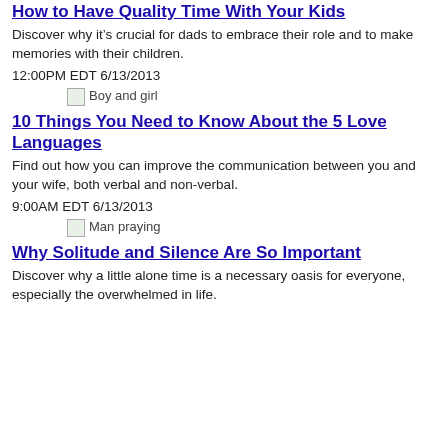How to Have Quality Time With Your Kids
Discover why it’s crucial for dads to embrace their role and to make memories with their children.
12:00PM EDT 6/13/2013
[Figure (illustration): Boy and girl thumbnail image]
10 Things You Need to Know About the 5 Love Languages
Find out how you can improve the communication between you and your wife, both verbal and non-verbal.
9:00AM EDT 6/13/2013
[Figure (illustration): Man praying thumbnail image]
Why Solitude and Silence Are So Important
Discover why a little alone time is a necessary oasis for everyone, especially the overwhelmed in life.